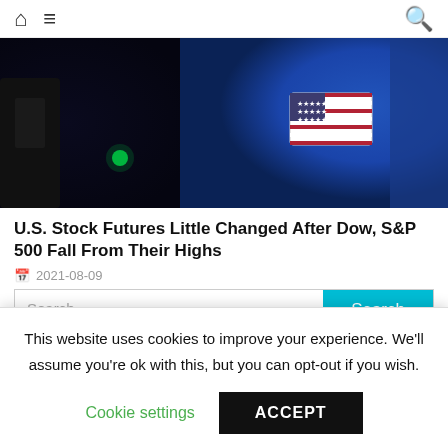Home Menu Search
[Figure (photo): Close-up photo of a person in a blue uniform with a US flag patch on the shoulder, dark background with a green light visible]
U.S. Stock Futures Little Changed After Dow, S&P 500 Fall From Their Highs
2021-08-09
Search ...
RECENT POSTS
Brian Stelter Signs Off On 'Reliable Sources' Finale: "CNN Must
This website uses cookies to improve your experience. We'll assume you're ok with this, but you can opt-out if you wish.
Cookie settings  ACCEPT